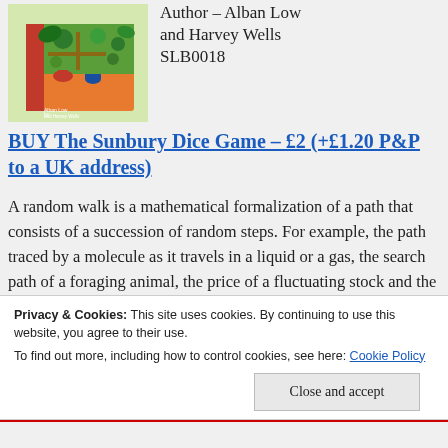[Figure (illustration): Illustrated book cover for The Sunbury Dice Game by Alban Low and Harvey Wells, showing colorful illustrated garden/landscape scene]
Author – Alban Low and Harvey Wells
SLB0018
BUY The Sunbury Dice Game – £2 (+£1.20 P&P to a UK address)
A random walk is a mathematical formalization of a path that consists of a succession of random steps. For example, the path traced by a molecule as it travels in a liquid or a gas, the search path of a foraging animal, the price of a fluctuating stock and the financial status of a gambler can all be modeled as random walks. The term
Privacy & Cookies: This site uses cookies. By continuing to use this website, you agree to their use.
To find out more, including how to control cookies, see here: Cookie Policy
Close and accept